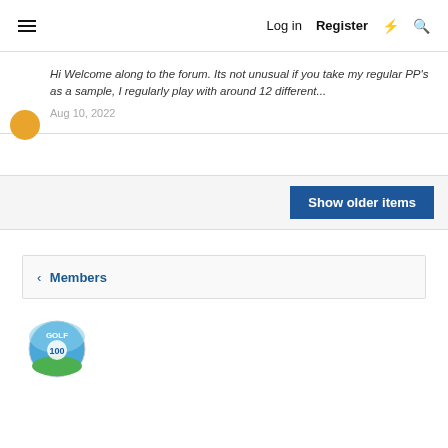≡  Log in  Register  ⚡  🔍
Hi Welcome along to the forum. Its not unusual if you take my regular PP's as a sample, I regularly play with around 12 different...
Aug 10, 2022
Show older items
< Members